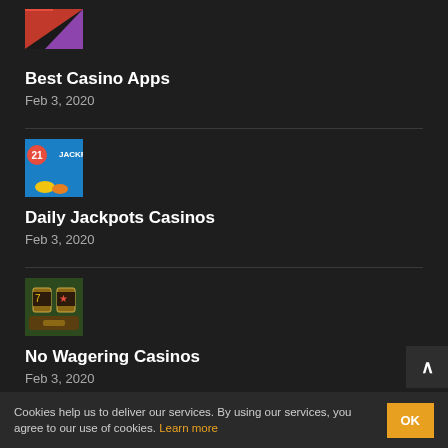[Figure (screenshot): Best Casino Apps thumbnail image (partial, top portion visible)]
Best Casino Apps
Feb 3, 2020
[Figure (screenshot): Daily Jackpots Casinos thumbnail - blue background with jackpot branding]
Daily Jackpots Casinos
Feb 3, 2020
[Figure (screenshot): No Wagering Casinos thumbnail - casino slot machine image]
No Wagering Casinos
Feb 3, 2020
Cookies help us to deliver our services. By using our services, you agree to our use of cookies. Learn more